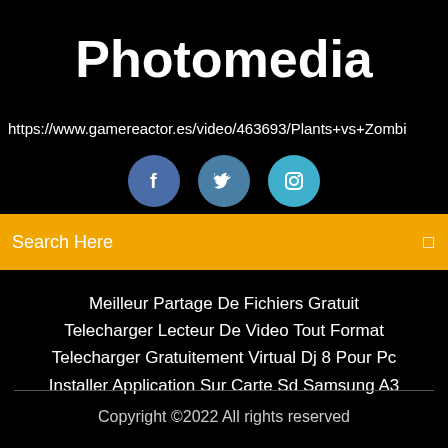Photomedia
https://www.gamereactor.es/video/463693/Plants+vs+Zombi
[Figure (other): Three social media icon buttons: Facebook (dark blue), Twitter (medium blue), Instagram (light blue)]
Search Here
Meilleur Partage De Fichiers Gratuit
Telecharger Lecteur De Video Tout Format
Telecharger Gratuitement Virtual Dj 8 Pour Pc
Installer Application Sur Carte Sd Samsung A3
Copyright ©2022 All rights reserved